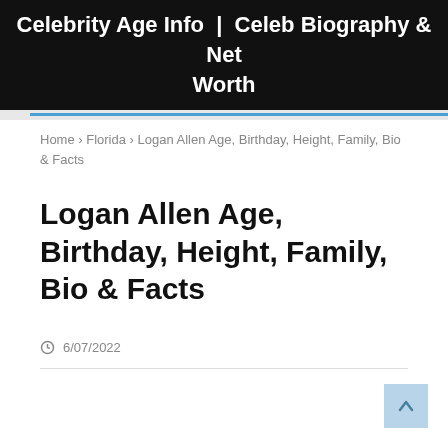Celebrity Age Info | Celeb Biography & Net Worth
Home › Florida › Logan Allen Age, Birthday, Height, Family, Bio & Facts
Logan Allen Age, Birthday, Height, Family, Bio & Facts
6/07/2022